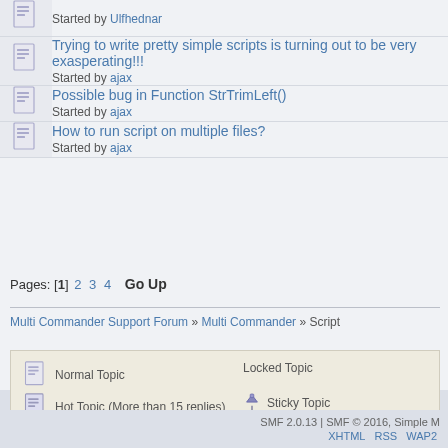Trying to write pretty simple scripts is turning out to be very exasperating!!! Started by ajax
Possible bug in Function StrTrimLeft() Started by ajax
How to run script on multiple files? Started by ajax
Pages: [1] 2 3 4  Go Up
Multi Commander Support Forum » Multi Commander » Script
Normal Topic   Locked Topic
Hot Topic (More than 15 replies)   Sticky Topic
Very Hot Topic (More than 25 replies)   Poll
SMF 2.0.13 | SMF © 2016, Simple M
XHTML  RSS  WAP2